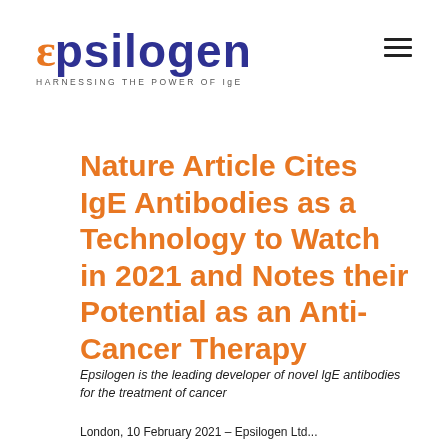[Figure (logo): Epsilogen logo with orange epsilon symbol and navy blue 'psilogen' text, tagline 'HARNESSING THE POWER OF IgE']
Nature Article Cites IgE Antibodies as a Technology to Watch in 2021 and Notes their Potential as an Anti-Cancer Therapy
Epsilogen is the leading developer of novel IgE antibodies for the treatment of cancer
London, 10 February 2021 – Epsilogen Ltd...